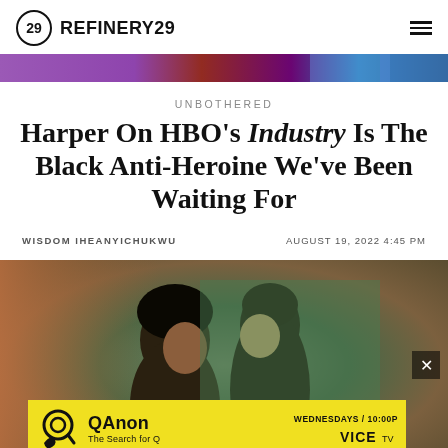REFINERY29
[Figure (illustration): Decorative banner strip with purple, red/maroon, and blue gradient colors]
UNBOTHERED
Harper On HBO’s Industry Is The Black Anti-Heroine We’ve Been Waiting For
WISDOM IHEANYICHUKWU   AUGUST 19, 2022 4:45 PM
[Figure (photo): Two people close together, appearing to almost kiss, against a green background. An advertisement overlay at the bottom shows QAnon: The Search for Q on VICE TV, Wednesdays 10:00P]